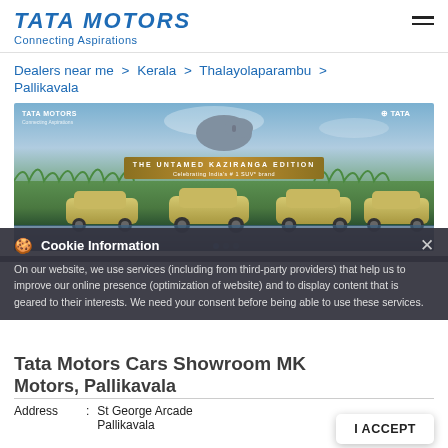TATA MOTORS Connecting Aspirations
Dealers near me > Kerala > Thalayolaparambu > Pallikavala
[Figure (photo): Tata Motors advertisement showing THE UNTAMED KAZIRANGA EDITION with SUVs in a natural landscape with a rhino, celebrating India's #1 SUV brand]
Cookie Information
On our website, we use services (including from third-party providers) that help us to improve our online presence (optimization of website) and to display content that is geared to their interests. We need your consent before being able to use these services.
Tata Motors Cars Showroom MK Motors, Pallikavala
|  |  |  |
| --- | --- | --- |
| Address | : | St George Arcade
Pallikavala
Thalayolaparambu |